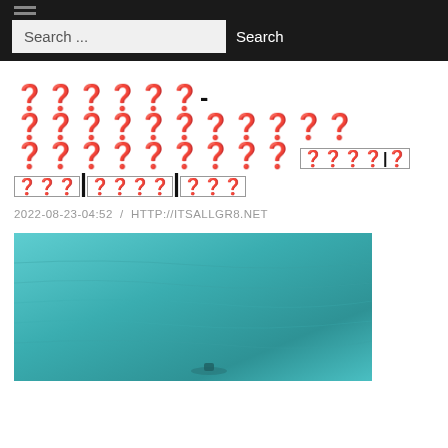Search ... Search
?????? - ?????????????????? ????????? ????|?|???|????|???
2022-08-23-04:52 / HTTP://ITSALLGR8.NET
[Figure (photo): Aerial or overhead view of teal/turquoise water surface with a small boat or figure visible at the bottom]